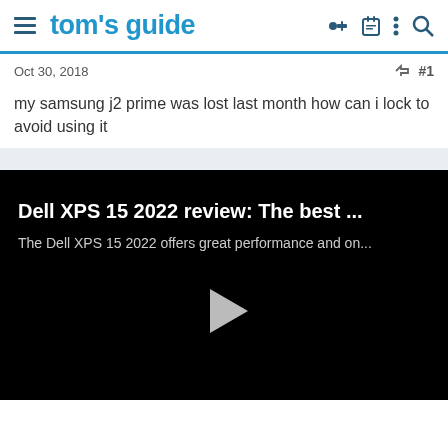tom's guide
Oct 30, 2018   #1
my samsung j2 prime was lost last month how can i lock to avoid using it
[Figure (screenshot): Video thumbnail for Dell XPS 15 2022 review: The best ... The Dell XPS 15 2022 offers great performance and on... with a play button on a black background]